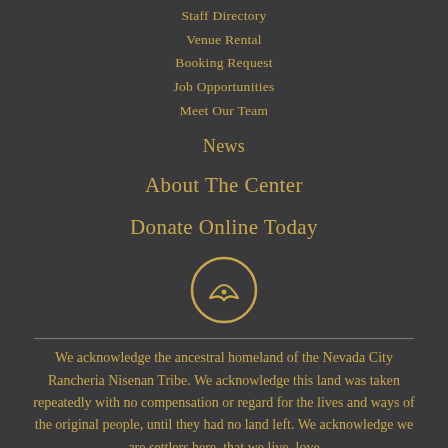Staff Directory
Venue Rental
Booking Request
Job Opportunities
Meet Our Team
News
About The Center
Donate Online Today
[Figure (logo): Circular logo with stylized arrow/triangle symbol in gold on dark background]
We acknowledge the ancestral homeland of the Nevada City Rancheria Nisenan Tribe. We acknowledge this land was taken repeatedly with no compensation or regard for the lives and ways of the original people, until they had no land left. We acknowledge we are settlers here, that we live, love